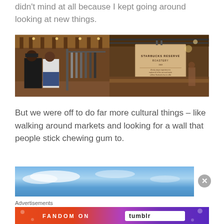didn't mind at all because I kept going around looking at new things.
[Figure (photo): Two side-by-side photos of a Starbucks Reserve store interior: left shows two men standing in the store with clothing racks and wooden ceiling beams; right shows a hanging wooden sign reading Starbucks Reserve with people at a bar counter in background.]
But we were off to do far more cultural things – like walking around markets and looking for a wall that people stick chewing gum to.
[Figure (photo): Blue sky with light clouds, partial view of a wider image.]
Advertisements
[Figure (illustration): Fandom on Tumblr advertisement banner with colorful gradient background (orange to purple) with doodles and the text FANDOM ON tumblr in white and black lettering.]